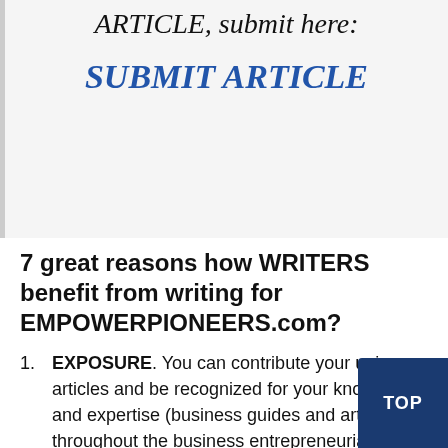ARTICLE, submit here:
SUBMIT ARTICLE
7 great reasons how WRITERS benefit from writing for EMPOWERPIONEERS.com?
EXPOSURE. You can contribute your unique articles and be recognized for your knowledge and expertise (business guides and articles) throughout the business entrepreneurial sector.
You can earn income (both through offering your